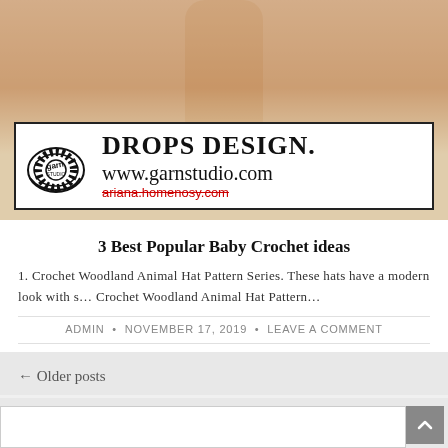[Figure (photo): Top portion of a webpage showing a beach/sandy background with a person's legs visible, and a DROPS DESIGN / garnstudio.com logo banner with watermark ariana.homenosy.com]
3 Best Popular Baby Crochet ideas
1. Crochet Woodland Animal Hat Pattern Series. These hats have a modern look with s... Crochet Woodland Animal Hat Pattern...
ADMIN • NOVEMBER 17, 2019 • LEAVE A COMMENT
← Older posts